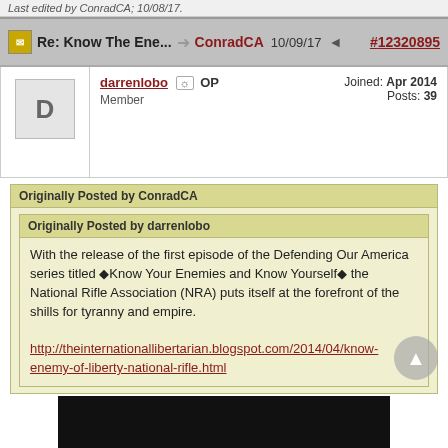Last edited by ConradCA; 10/08/17.
Re: Know The Ene... → ConradCA 10/09/17 ◄ # 12320895
darrenlobo OP
Member
Joined: Apr 2014
Posts: 39
Originally Posted by ConradCA
Originally Posted by darrenlobo
With the release of the first episode of the Defending Our America series titled ◆Know Your Enemies and Know Yourself◆ the National Rifle Association (NRA) puts itself at the forefront of the shills for tyranny and empire.

http://theinternationallibertarian.blogspot.com/2014/04/know-enemy-of-liberty-national-rifle.html